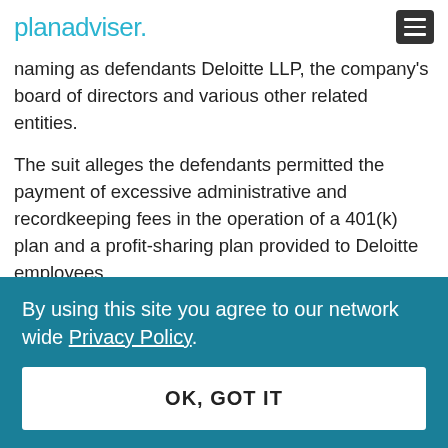planadviser.
naming as defendants Deloitte LLP, the company's board of directors and various other related entities.
The suit alleges the defendants permitted the payment of excessive administrative and recordkeeping fees in the operation of a 401(k) plan and a profit-sharing plan provided to Deloitte employees.
By using this site you agree to our network wide Privacy Policy.
OK, GOT IT